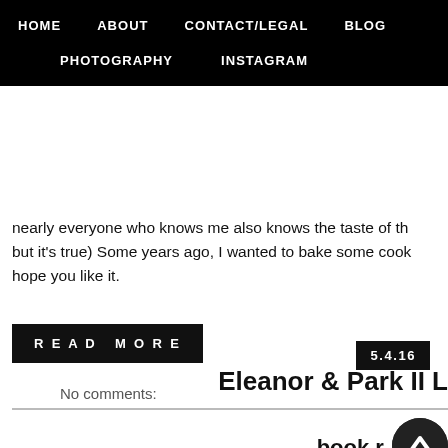HOME  ABOUT  CONTACT/LEGAL  BLOG  PHOTOGRAPHY  INSTAGRAM
nearly everyone who knows me also knows the taste of th... but it's true) Some years ago, I wanted to bake some cook... hope you like it.
READ MORE
No comments:
5.4.16
Eleanor & Park II L
book r